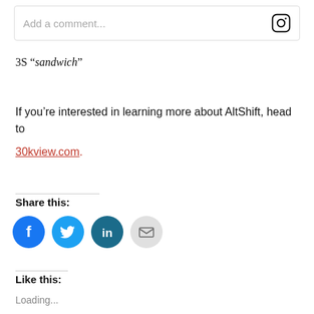Add a comment...
3S “sandwich”
If you’re interested in learning more about AltShift, head to 30kview.com.
Share this:
[Figure (illustration): Social share buttons: Facebook (blue circle with f icon), Twitter (cyan circle with bird icon), LinkedIn (dark teal circle with in icon), Email (light gray circle with envelope icon)]
Like this:
Loading...